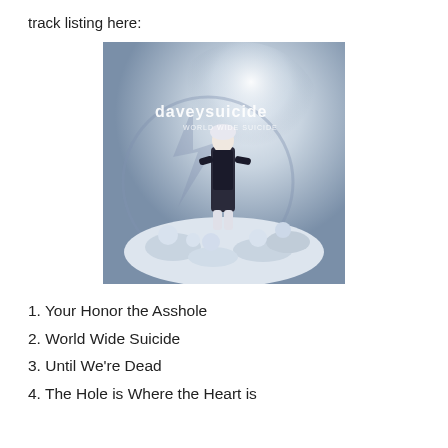track listing here:
[Figure (photo): Album cover for 'daveysuicide - World Wide Suicide'. Dark atmospheric image featuring a figure in black leather jacket with white hair standing over a pile of pale white figures against a misty background with a large circular symbol.]
1. Your Honor the Asshole
2. World Wide Suicide
3. Until We're Dead
4. The Hole is Where the Heart is